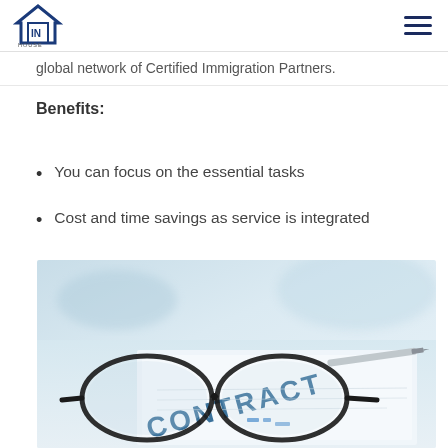IN House Mobility logo and navigation
global network of Certified Immigration Partners.
Benefits:
You can focus on the essential tasks
Cost and time savings as service is integrated
[Figure (photo): Photo of eyeglasses resting on a contract document with a pen, office setting with blurred background]